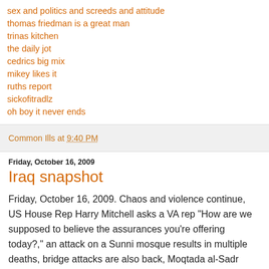sex and politics and screeds and attitude
thomas friedman is a great man
trinas kitchen
the daily jot
cedrics big mix
mikey likes it
ruths report
sickofitradlz
oh boy it never ends
Common Ills at 9:40 PM
Friday, October 16, 2009
Iraq snapshot
Friday, October 16, 2009. Chaos and violence continue, US House Rep Harry Mitchell asks a VA rep "How are we supposed to believe the assurances you're offering today?," an attack on a Sunni mosque results in multiple deaths, bridge attacks are also back, Moqtada al-Sadr performs a